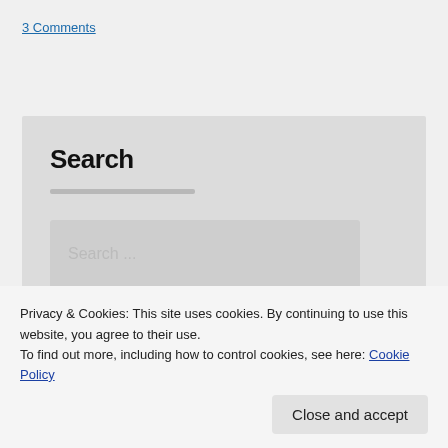3 Comments
Search
[Figure (screenshot): Search widget with a horizontal bar, a search input box with placeholder 'Search ...', and a Search button]
Privacy & Cookies: This site uses cookies. By continuing to use this website, you agree to their use.
To find out more, including how to control cookies, see here: Cookie Policy
Close and accept
About This Site